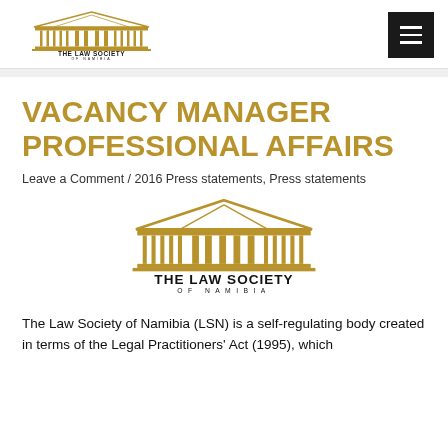THE LAW SOCIETY OF NAMIBIA
VACANCY MANAGER PROFESSIONAL AFFAIRS
Leave a Comment / 2016 Press statements, Press statements
[Figure (logo): The Law Society of Namibia logo — gold classical building with columns, text THE LAW SOCIETY OF NAMIBIA below]
The Law Society of Namibia (LSN) is a self-regulating body created in terms of the Legal Practitioners' Act (1995), which